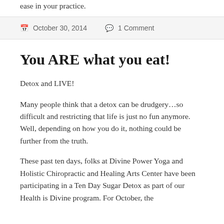ease in your practice.
October 30, 2014   1 Comment
You ARE what you eat!
Detox and LIVE!
Many people think that a detox can be drudgery…so difficult and restricting that life is just no fun anymore. Well, depending on how you do it, nothing could be further from the truth.
These past ten days, folks at Divine Power Yoga and Holistic Chiropractic and Healing Arts Center have been participating in a Ten Day Sugar Detox as part of our Health is Divine program. For October, the